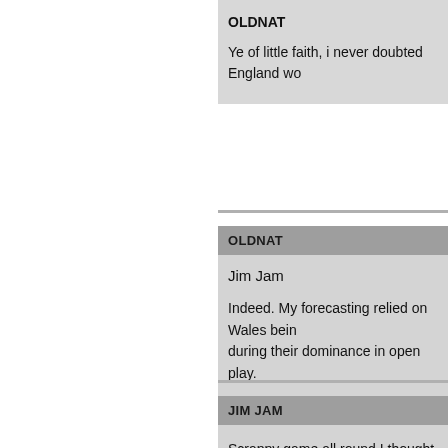OLDNAT
Ye of little faith, i never doubted England wo
OLDNAT
Jim Jam
Indeed. My forecasting relied on Wales bein during their dominance in open play.
JIM JAM
Scrappy game all round I thought with plenty decisive try proving critical. England could be 0-2 instead of 2-0 as the A
BARBAZENZERO